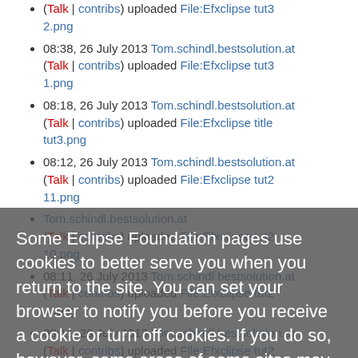(Talk | contribs) uploaded File:Efxclipse tut32.png
08:38, 26 July 2013 Tom.schindl.bestsolution.at (Talk | contribs) uploaded File:Efxclipse tut31.png
08:18, 26 July 2013 Tom.schindl.bestsolution.at (Talk | contribs) uploaded File:Efxclipse title tut3.png
08:12, 26 July 2013 Tom.schindl.bestsolution.at (Talk | contribs) uploaded File:Efxclipse tut2 11.png
... Tom.schindl.bestsolution.at (Talk | contribs) uploaded File:Efxclipse tut2 10.png
08:11, 26 July 2013 Tom.schindl.bestsolution.at (Talk | contribs) uploaded File:Efxclipse tut2 ...png
08:11, 26 July 2013 Tom.schindl.bestsolution.at (Talk | contribs) uploaded File:Efxclipse tut2 8.png
08:11, 26 July 2013 Tom.schindl.bestsolution.at (Talk | contribs) uploaded File:Efxclipse tut2 7...
Some Eclipse Foundation pages use cookies to better serve you when you return to the site. You can set your browser to notify you before you receive a cookie or turn off cookies. If you do so, however, some areas of some sites may not function properly. To read Eclipse Foundation Privacy Policy click here.
Decline
Allow cookies